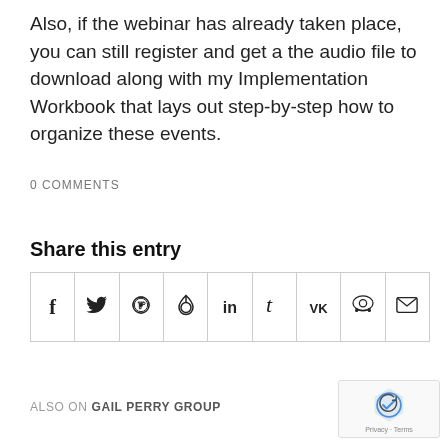Also, if the webinar has already taken place, you can still register and get a the audio file to download along with my Implementation Workbook that lays out step-by-step how to organize these events.
0 COMMENTS
Share this entry
| f | 🐦 | © | ℗ | in | t | VK | reddit | ✉ |
ALSO ON GAIL PERRY GROUP